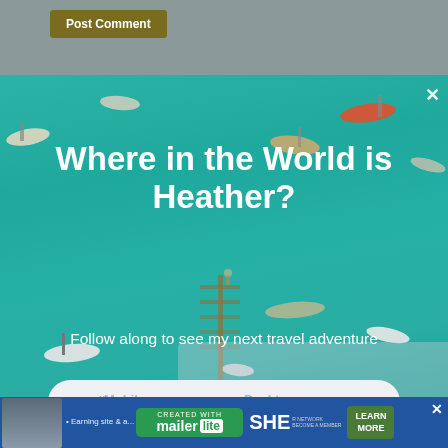[Figure (screenshot): Web page background showing grayed-out comment form with 'Post Comment' button and 'This site uses Akismet to reduce spam. Learn how your comment data is processed.' text]
[Figure (screenshot): Popup modal overlay with aerial ocean photo background showing boats on teal water. Contains newsletter signup form with title 'Where in the World is Heather?', subtitle 'Follow along to see my next travel adventure', email input field, Mobile/Desktop tabs, and orange 'Yes, Please!' button. Close X in top right. 'Created with MailerLite' badge at bottom with SHE network logo and 'LEARN MORE' button.]